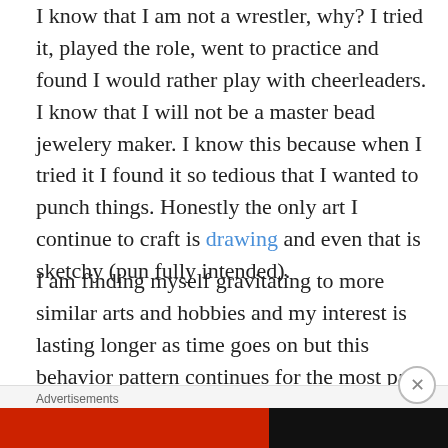I know that I am not a wrestler, why? I tried it, played the role, went to practice and found I would rather play with cheerleaders. I know that I will not be a master bead jewelery maker. I know this because when I tried it I found it so tedious that I wanted to punch things. Honestly the only art I continue to craft is drawing and even that is sketchy (pun fully intended).
I am finding myself gravitating to more similar arts and hobbies and my interest is lasting longer as time goes on but this behavior pattern continues for the most part. The only newer hobby I have gotten into and seem to have a huge passion for is producing and hosting podcasts. We have one solid show up and running and have three episodes out. We will have a fourth out on Monday the 10th of June. I do not care if we make it “big” (although it
Advertisements